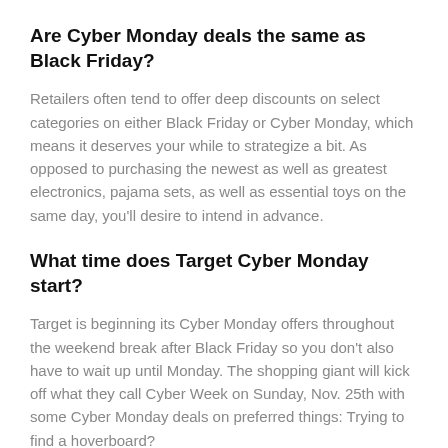Are Cyber Monday deals the same as Black Friday?
Retailers often tend to offer deep discounts on select categories on either Black Friday or Cyber Monday, which means it deserves your while to strategize a bit. As opposed to purchasing the newest as well as greatest electronics, pajama sets, as well as essential toys on the same day, you'll desire to intend in advance.
What time does Target Cyber Monday start?
Target is beginning its Cyber Monday offers throughout the weekend break after Black Friday so you don't also have to wait up until Monday. The shopping giant will kick off what they call Cyber Week on Sunday, Nov. 25th with some Cyber Monday deals on preferred things: Trying to find a hoverboard?